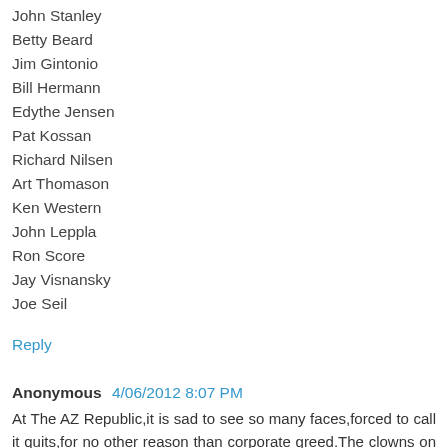John Stanley
Betty Beard
Jim Gintonio
Bill Hermann
Edythe Jensen
Pat Kossan
Richard Nilsen
Art Thomason
Ken Western
John Leppla
Ron Score
Jay Visnansky
Joe Seil
Reply
Anonymous  4/06/2012 8:07 PM
At The AZ Republic,it is sad to see so many faces,forced to call it quits,for no other reason than corporate greed.The clowns on the 10th floor hide out, while stirring their cauldrons,coming up with new ways to increase their blood money bonuses.Now they seem to have decided to wipe